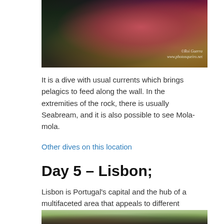[Figure (photo): Underwater photo of red coral/sea creature on a rock wall with dark water background. Watermark: ©Roi Guerra, www.photosqueiro.net]
It is a dive with usual currents which brings pelagics to feed along the wall. In the extremities of the rock, there is usually Seabream, and it is also possible to see Mola-mola.
Other dives on this location
Day 5 – Lisbon;
Lisbon is Portugal's capital and the hub of a multifaceted area that appeals to different tastes and senses.
[Figure (photo): Photo of trees with branches against a light sky, bottom portion of image visible.]